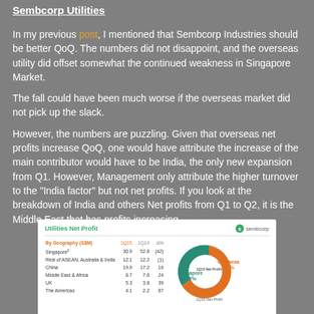Sembcorp Utilities
In my previous post, I mentioned that Sembcorp Industries should be better QoQ. The numbers did not disappoint, and the overseas utility did offset somewhat the continued weakness in Singapore Market.
The fall could have been much worse if the overseas market did not pick up the slack.
However, the numbers are puzzling. Given that overseas net profits increase QoQ, one would have attribute the increase of the main contributor would have to be India, the only new expansion from Q1. However, Management only attribute the higher turnover to the "India factor" but not net profits. If you look at the breakdown of India and others Net profits from Q1 to Q2, it is the Middle East that has profits increasing.
[Figure (donut-chart): Sembcorp Utilities Net Profit donut chart showing Singapore 38% and Overseas 62%, with a table breakdown by geography showing Singapore, Rest of ASEAN Australia & India, China, Middle East & Africa, UK, The Americas rows with 1Q15 and 1Q14 columns and % change.]